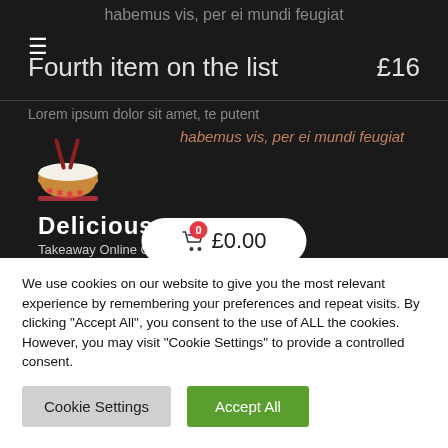habemus vis, per ei mundi feugiat
Fourth item on the list   £16
Lorem ipsum dolor sit amet, te putent
habemus vis, per ei mundi feugiat
[Figure (logo): Delicious Takeaway Online Order logo with bowl of rice and chopsticks]
£0.00 cart button with 0 badge
We use cookies on our website to give you the most relevant experience by remembering your preferences and repeat visits. By clicking "Accept All", you consent to the use of ALL the cookies. However, you may visit "Cookie Settings" to provide a controlled consent.
Cookie Settings
Accept All